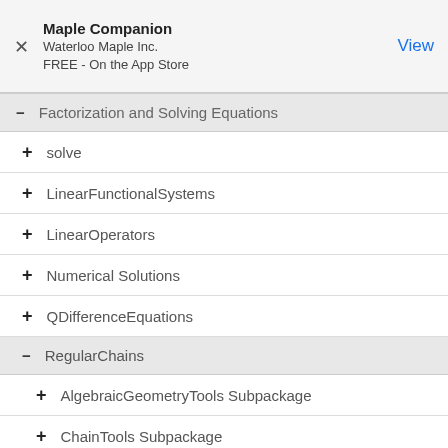Maple Companion
Waterloo Maple Inc.
FREE - On the App Store
− Factorization and Solving Equations
+ solve
+ LinearFunctionalSystems
+ LinearOperators
+ Numerical Solutions
+ QDifferenceEquations
− RegularChains
+ AlgebraicGeometryTools Subpackage
+ ChainTools Subpackage